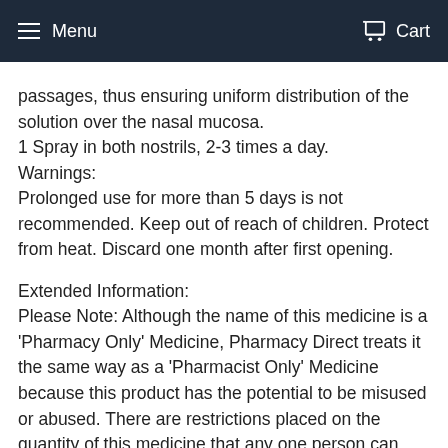Menu  Cart
passages, thus ensuring uniform distribution of the solution over the nasal mucosa.
1 Spray in both nostrils, 2-3 times a day.
Warnings:
Prolonged use for more than 5 days is not recommended. Keep out of reach of children. Protect from heat. Discard one month after first opening.
Extended Information:
Please Note: Although the name of this medicine is a 'Pharmacy Only' Medicine, Pharmacy Direct treats it the same way as a 'Pharmacist Only' Medicine because this product has the potential to be misused or abused. There are restrictions placed on the quantity of this medicine that any one person can order from Pharmacy Direct. All purchase details will be recorded and stored. A pharmacist will authorise the sale of these medicines to you and ensure that the medicine is appropriate for the condition for which you are requesting this medicine. Please carefully read ALL the information we